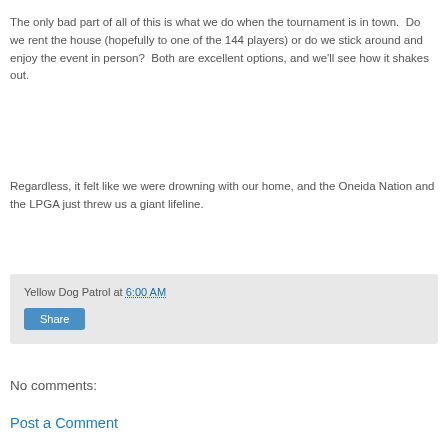The only bad part of all of this is what we do when the tournament is in town.  Do we rent the house (hopefully to one of the 144 players) or do we stick around and enjoy the event in person?  Both are excellent options, and we'll see how it shakes out.
Regardless, it felt like we were drowning with our home, and the Oneida Nation and the LPGA just threw us a giant lifeline.
Yellow Dog Patrol at 6:00 AM
Share
No comments:
Post a Comment